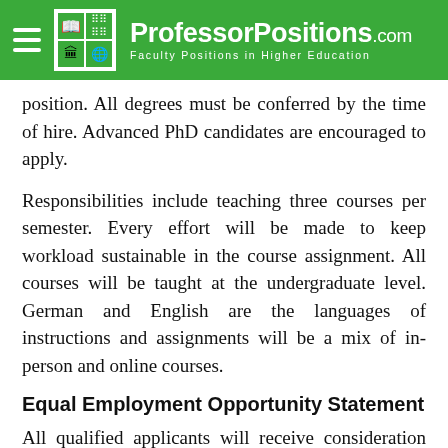ProfessorPositions.com — Faculty Positions in Higher Education
position. All degrees must be conferred by the time of hire. Advanced PhD candidates are encouraged to apply.
Responsibilities include teaching three courses per semester. Every effort will be made to keep workload sustainable in the course assignment. All courses will be taught at the undergraduate level. German and English are the languages of instructions and assignments will be a mix of in-person and online courses.
Equal Employment Opportunity Statement
All qualified applicants will receive consideration for employment without regard to race, religion, sex, national origin, age,